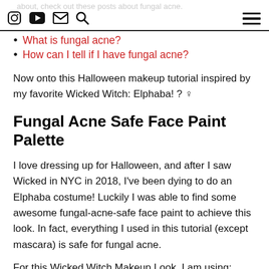about, check out these posts about fungal acne.
What is fungal acne?
How can I tell if I have fungal acne?
Now onto this Halloween makeup tutorial inspired by my favorite Wicked Witch: Elphaba! ? ♀
Fungal Acne Safe Face Paint Palette
I love dressing up for Halloween, and after I saw Wicked in NYC in 2018, I've been dying to do an Elphaba costume! Luckily I was able to find some awesome fungal-acne-safe face paint to achieve this look. In fact, everything I used in this tutorial (except mascara) is safe for fungal acne.
For this Wicked Witch Makeup Look, I am using: